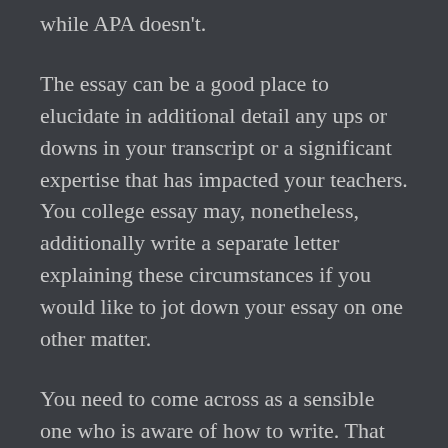while APA doesn't.
The essay can be a good place to elucidate in additional detail any ups or downs in your transcript or a significant expertise that has impacted your teachers. You college essay may, nonetheless, additionally write a separate letter explaining these circumstances if you would like to jot down your essay on one other matter.
You need to come across as a sensible one who is aware of how to write. That does not imply it is best to take the dictionary and begin college essay looking for massive phrases to make use of. This essay should not sound like it was written by Shakespeare. It should present you as a down-to-earth person